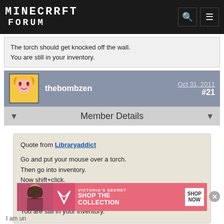Minecraft Forum
The torch should get knocked off the wall.
You are still in your inventory.
thebombzen   Oct 31, 2011   #21
Member Details
Quote from Libraryaddict

Go and put your mouse over a torch.
Then go into inventory.
Now shift+click.

The torch should get knocked off the wall.
You are still in your inventory.
I am un...
[Figure (infographic): Victoria's Secret advertisement banner with model photo, VS logo, 'SHOP THE COLLECTION' text and 'SHOP NOW' button]